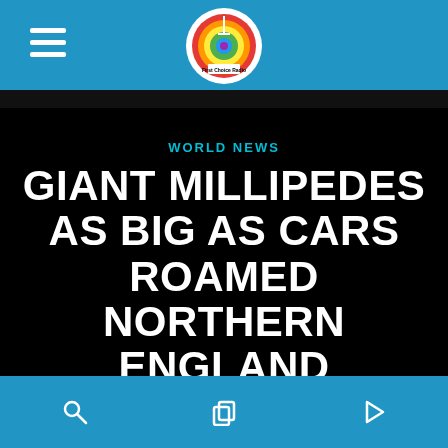First Choice Radio — navigation header with hamburger menu and logo
WORLD NEWS
GIANT MILLIPEDES AS BIG AS CARS ROAMED NORTHERN ENGLAND
WRITTEN BY FIRST CHOICE RADIO ON 21 DECEMBER 2021
Bottom navigation bar with search, copy, and play icons